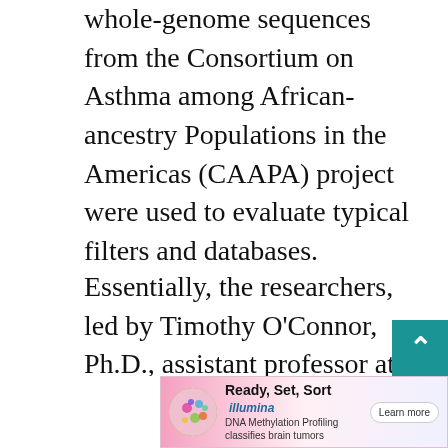whole-genome sequences from the Consortium on Asthma among African-ancestry Populations in the Americas (CAAPA) project were used to evaluate typical filters and databases.
Essentially, the researchers, led by Timothy O'Connor, Ph.D., assistant professor at the University of Maryland School of Medicine, created the largest, high-quality non-European genome dataset ever assembled. It was representative of U.S., African, and Afro-Caribbean populations. When this data… clinical geno… nd a
[Figure (other): Scroll-to-top button: teal square with white upward-pointing arrow chevron]
[Figure (other): Illumina advertisement banner: colorful DNA/cell icon on left, bold text 'Ready, Set, Sort' with tagline 'DNA Methylation Profiling classifies brain tumors', Illumina logo, and 'Learn more' button on pink-to-white gradient background]